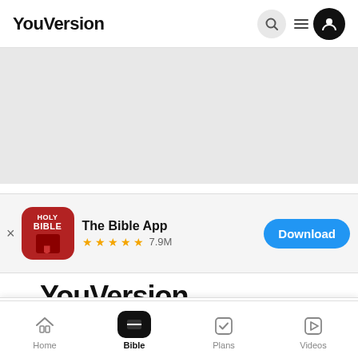YouVersion
[Figure (screenshot): Gray banner/advertisement placeholder area]
[Figure (infographic): App Store banner showing The Bible App with HOLY BIBLE icon, 4.5 stars, 7.9M reviews, and a blue Download button]
YouVersion
YouVersion uses cookies to personalize your experience. By using our website, you accept our use of cookies as described in our Privacy Policy.
Encou
Home | Bible | Plans | Videos